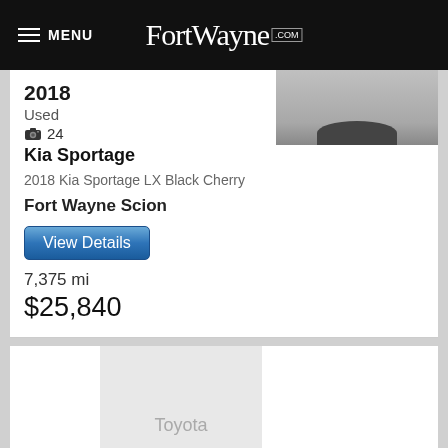MENU FortWayne.com
2018
Used
24
Kia Sportage
2018 Kia Sportage LX Black Cherry
Fort Wayne Scion
View Details
7,375 mi
$25,840
[Figure (photo): Partial car image shown at top of listing card]
[Figure (logo): Toyota placeholder image in second listing card]